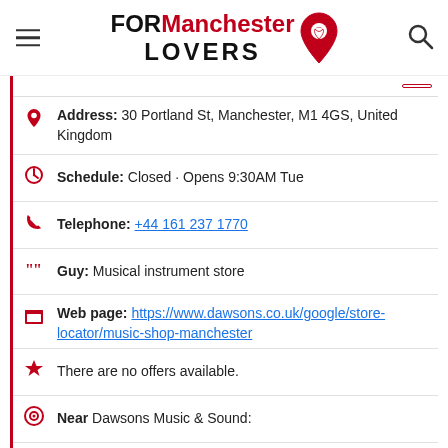FOR Manchester LOVERS
Address: 30 Portland St, Manchester, M1 4GS, United Kingdom
Schedule: Closed · Opens 9:30AM Tue
Telephone: +44 161 237 1770
Guy: Musical instrument store
Web page: https://www.dawsons.co.uk/google/store-locator/music-shop-manchester
There are no offers available.
Near Dawsons Music & Sound:
a 7 meters away office emptying: Neo
a 14 meters away academy baccalaureate: BIMM